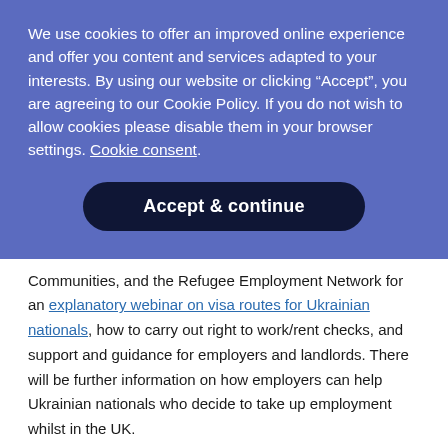We use cookies to offer an improved online experience and offer you content and services adapted to your interests. By using our website or clicking “Accept”, you are agreeing to our Cookie Policy. If you do not wish to allow cookies please disable them in your browser settings. Cookie consent.
Accept & continue
Communities, and the Refugee Employment Network for an explanatory webinar on visa routes for Ukrainian nationals, how to carry out right to work/rent checks, and support and guidance for employers and landlords. There will be further information on how employers can help Ukrainian nationals who decide to take up employment whilst in the UK.
We continue to follow the news of the invasion in Ukraine with sadness and consternation and remain